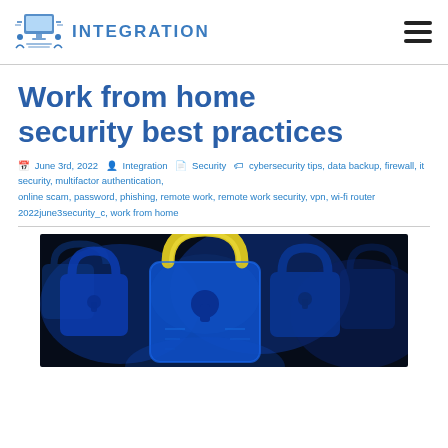INTEGRATION
Work from home security best practices
June 3rd, 2022  Integration  Security  cybersecurity tips, data backup, firewall, it security, multifactor authentication, online scam, password, phishing, remote work, remote work security, vpn, wi-fi router 2022june3security_c, work from home
[Figure (photo): Close-up photo of glowing blue and yellow digital padlocks on a dark background, representing cybersecurity and digital security concepts.]